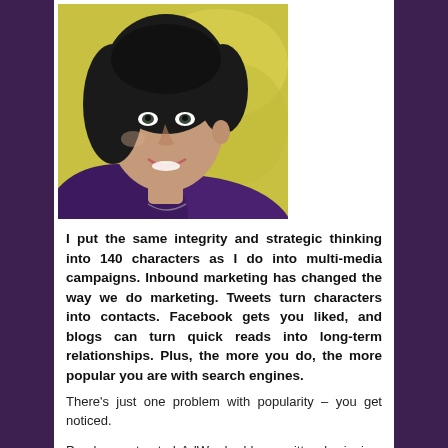[Figure (photo): Close-up photo of a smiling woman with dark hair, wearing a purple jacket, with a yellow-green blurred background.]
I put the same integrity and strategic thinking into 140 characters as I do into multi-media campaigns. Inbound marketing has changed the way we do marketing. Tweets turn characters into contacts. Facebook gets you liked, and blogs can turn quick reads into long-term relationships. Plus, the more you do, the more popular you are with search engines.
There’s just one problem with popularity – you get noticed.
Poorly constructed AdWords, blogs written by juniors and irrelevant tweets are damaging to brands. People, not just search engines, need to like you. So hire me